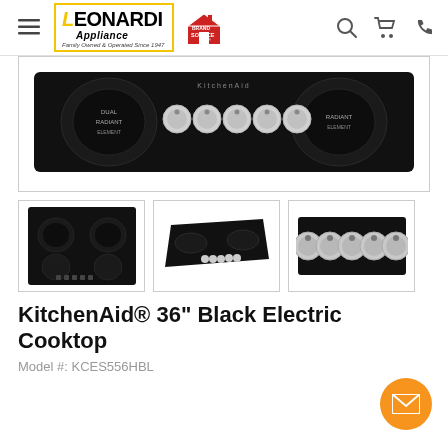Leonardi Appliance - Brand Source
[Figure (photo): KitchenAid black electric cooktop top-down view showing 5 burners and 5 control knobs in the center, on black glass surface]
[Figure (photo): Thumbnail 1: Front-facing view of black electric cooktop with 4 burners and touch controls]
[Figure (photo): Thumbnail 2: Angled side view of black electric cooktop showing slim profile and knobs]
[Figure (photo): Thumbnail 3: Close-up of 5 silver control knobs on black cooktop surface]
KitchenAid® 36" Black Electric Cooktop
Model #: KCES556HBL